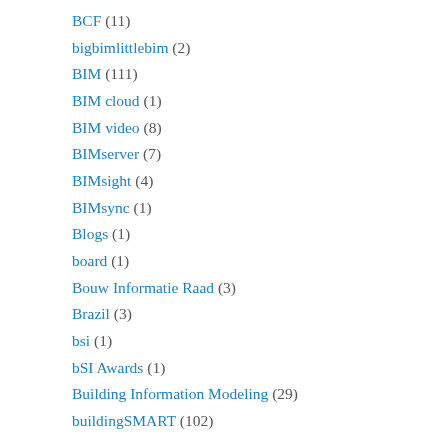BCF (11)
bigbimlittlebim (2)
BIM (111)
BIM cloud (1)
BIM video (8)
BIMserver (7)
BIMsight (4)
BIMsync (1)
Blogs (1)
board (1)
Bouw Informatie Raad (3)
Brazil (3)
bsi (1)
bSI Awards (1)
Building Information Modeling (29)
buildingSMART (102)